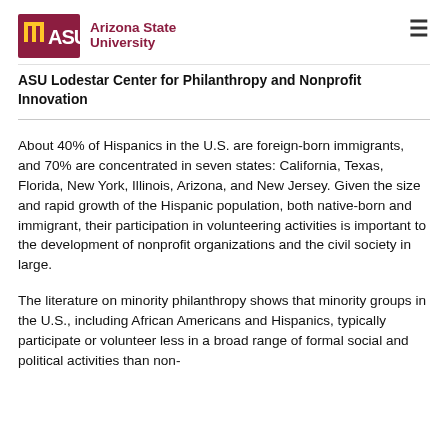ASU Arizona State University
ASU Lodestar Center for Philanthropy and Nonprofit Innovation
About 40% of Hispanics in the U.S. are foreign-born immigrants, and 70% are concentrated in seven states: California, Texas, Florida, New York, Illinois, Arizona, and New Jersey. Given the size and rapid growth of the Hispanic population, both native-born and immigrant, their participation in volunteering activities is important to the development of nonprofit organizations and the civil society in large.
The literature on minority philanthropy shows that minority groups in the U.S., including African Americans and Hispanics, typically participate or volunteer less in a broad range of formal social and political activities than non-